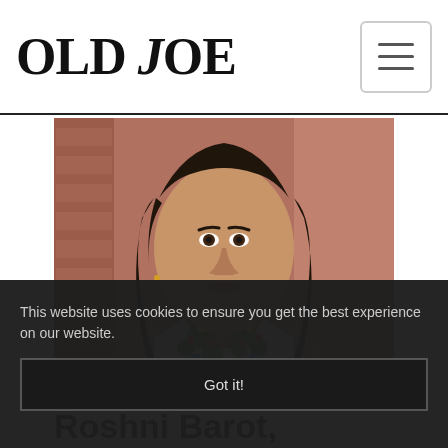OLD JOE
[Figure (photo): Close-up photo of a South Asian woman with long dark hair, wearing a white pinstripe shirt/jacket with floral embroidery, photographed in front of a brick wall background.]
Roshni Barot, Employer and
This website uses cookies to ensure you get the best experience on our website.
Got it!